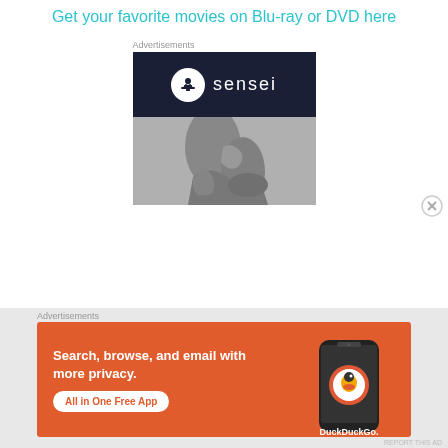Get your favorite movies on Blu-ray or DVD here
Advertisements
[Figure (logo): Sensei advertisement with dark navy background showing a white circle logo with a bonsai tree icon and the word 'sensei' in white text, below which is a grayscale photo of ballet dancer's feet in pointe shoes]
Advertisements
[Figure (screenshot): DuckDuckGo advertisement on orange background showing text 'Search, browse, and email with more privacy. All in One Free App' with a phone mockup showing DuckDuckGo logo]